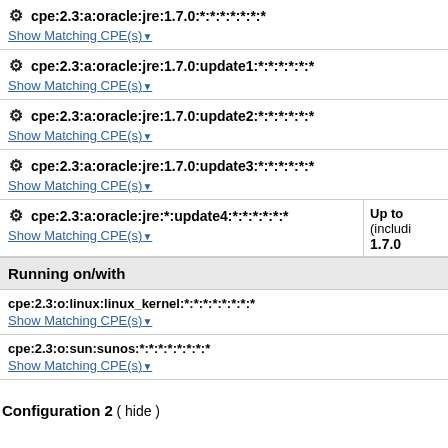cpe:2.3:a:oracle:jre:1.7.0:*:*:*:*:*:*:*
Show Matching CPE(s)
cpe:2.3:a:oracle:jre:1.7.0:update1:*:*:*:*:*:*
Show Matching CPE(s)
cpe:2.3:a:oracle:jre:1.7.0:update2:*:*:*:*:*:*
Show Matching CPE(s)
cpe:2.3:a:oracle:jre:1.7.0:update3:*:*:*:*:*:*
Show Matching CPE(s)
cpe:2.3:a:oracle:jre:*:update4:*:*:*:*:*:*
Show Matching CPE(s) | Up to (including) 1.7.0
Running on/with
cpe:2.3:o:linux:linux_kernel:*:*:*:*:*:*:*:*
Show Matching CPE(s)
cpe:2.3:o:sun:sunos:*:*:*:*:*:*:*:*
Show Matching CPE(s)
Configuration 2 ( hide )